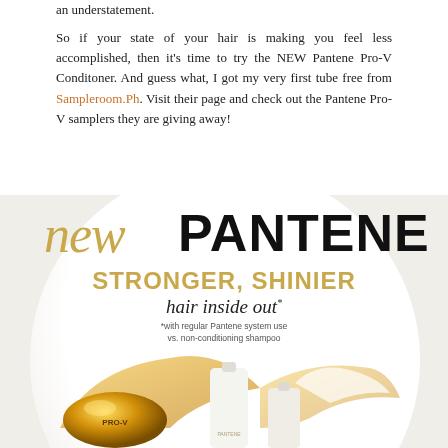an understatement.
So if your state of your hair is making you feel less accomplished, then it's time to try the NEW Pantene Pro-V Conditoner. And guess what, I got my very first tube free from Sampleroom.Ph. Visit their page and check out the Pantene Pro-V samplers they are giving away!
[Figure (photo): New Pantene advertisement showing 'new PANTENE' branding with text 'STRONGER, SHINIER hair inside out*' and product bottles with golden liquid splash on white circular background. Disclaimer: *with regular Pantene system use vs. non-conditioning shampoo]